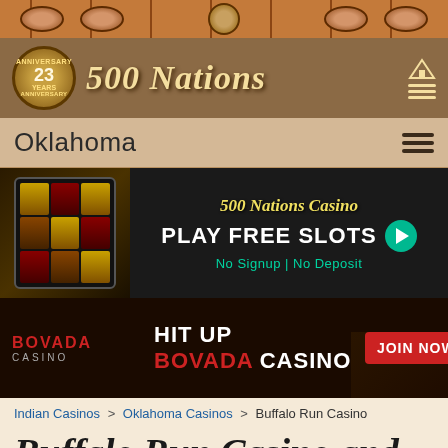[Figure (illustration): Decorative top banner with tribal/western design, brown oval shapes and central medallion]
500 Nations — 23 Years Anniversary
Oklahoma
[Figure (screenshot): 500 Nations Casino advertisement — PLAY FREE SLOTS, No Signup | No Deposit]
[Figure (screenshot): Bovada Casino advertisement — HIT UP BOVADA CASINO, JOIN NOW]
Indian Casinos > Oklahoma Casinos > Buffalo Run Casino
Buffalo Run Casino and Resort
Nation | Tribe: Peoria Tribe of Indians in Miami